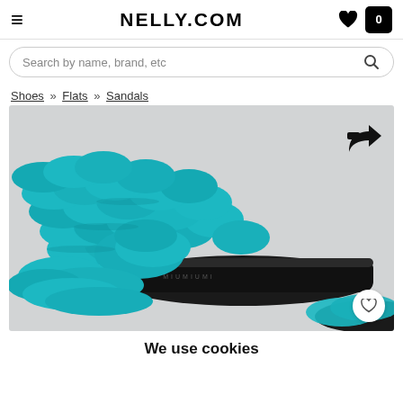NELLY.COM
Search by name, brand, etc
Shoes » Flats » Sandals
[Figure (photo): Close-up photo of a chunky crochet turquoise/teal sandal with a black sole, displayed on a light grey background. A share icon appears in the top right corner of the image. A white heart wishlist button appears at the bottom right.]
We use cookies